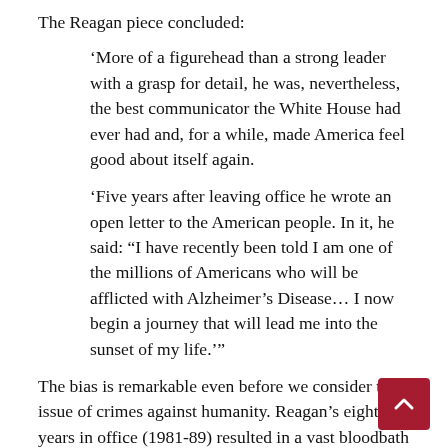The Reagan piece concluded:
‘More of a figurehead than a strong leader with a grasp for detail, he was, nevertheless, the best communicator the White House had ever had and, for a while, made America feel good about itself again.
‘Five years after leaving office he wrote an open letter to the American people. In it, he said: “I have recently been told I am one of the millions of Americans who will be afflicted with Alzheimer’s Disease… I now begin a journey that will lead me into the sunset of my life.’”
The bias is remarkable even before we consider the issue of crimes against humanity. Reagan’s eight years in office (1981-89) resulted in a vast bloodbath as Washington funnelled money, weapons and other